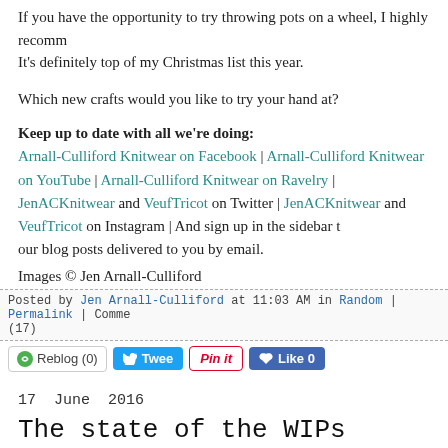If you have the opportunity to try throwing pots on a wheel, I highly recomm... It's definitely top of my Christmas list this year.
Which new crafts would you like to try your hand at?
Keep up to date with all we're doing: Arnall-Culliford Knitwear on Facebook | Arnall-Culliford Knitwear on YouTube | Arnall-Culliford Knitwear on Ravelry | JenACKnitwear and VeufTricot on Twitter | JenACKnitwear and VeufTricot on Instagram | And sign up in the sidebar to our blog posts delivered to you by email.
Images © Jen Arnall-Culliford
Posted by Jen Arnall-Culliford at 11:03 AM in Random | Permalink | Comments (17)
17  June  2016
The state of the WIPs
My period of monogamous knitting appears to have ended. I blame the lure... knitalong! I thought I would lay out the situation, and hope that in doing so, b... inspired to work down a few of these projects. The fact is that I am looking...